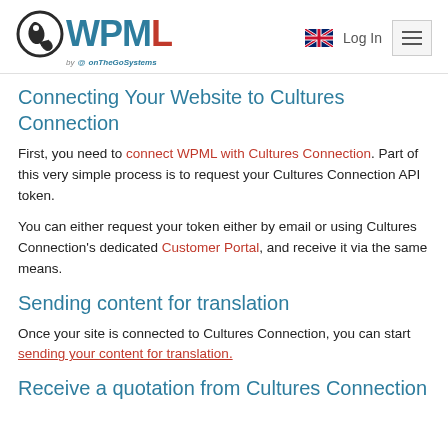WPML by onTheGoSystems — Log In
Connecting Your Website to Cultures Connection
First, you need to connect WPML with Cultures Connection. Part of this very simple process is to request your Cultures Connection API token.
You can either request your token either by email or using Cultures Connection's dedicated Customer Portal, and receive it via the same means.
Sending content for translation
Once your site is connected to Cultures Connection, you can start sending your content for translation.
Receive a quotation from Cultures Connection